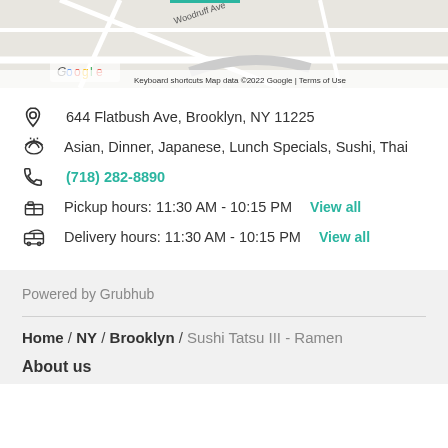[Figure (map): Google Maps partial screenshot showing streets including Woodruff Ave, Lenox Rd with Google logo and map attribution]
644 Flatbush Ave, Brooklyn, NY 11225
Asian, Dinner, Japanese, Lunch Specials, Sushi, Thai
(718) 282-8890
Pickup hours: 11:30 AM - 10:15 PM  View all
Delivery hours: 11:30 AM - 10:15 PM  View all
Powered by Grubhub
Home / NY / Brooklyn / Sushi Tatsu III - Ramen
About us